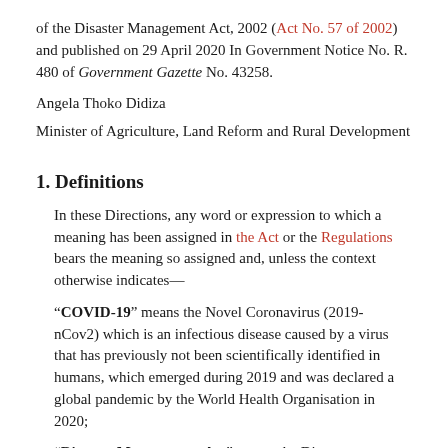of the Disaster Management Act, 2002 (Act No. 57 of 2002) and published on 29 April 2020 In Government Notice No. R. 480 of Government Gazette No. 43258.
Angela Thoko Didiza
Minister of Agriculture, Land Reform and Rural Development
1. Definitions
In these Directions, any word or expression to which a meaning has been assigned in the Act or the Regulations bears the meaning so assigned and, unless the context otherwise indicates—
"COVID-19" means the Novel Coronavirus (2019- nCov2) which is an infectious disease caused by a virus that has previously not been scientifically identified in humans, which emerged during 2019 and was declared a global pandemic by the World Health Organisation in 2020;
"Disaster Management Act" means the Disaster